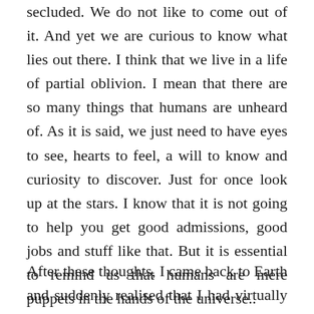secluded. We do not like to come out of it. And yet we are curious to know what lies out there. I think that we live in a life of partial oblivion. I mean that there are so many things that humans are unheard of. As it is said, we just need to have eyes to see, hearts to feel, a will to know and curiosity to discover. Just for once look up at the stars. I know that it is not going to help you get good admissions, good jobs and stuff like that. But it is essential to remind us that humans are mere puppets in the hands of the universe..
After these thoughts, I came back to Earth and suddenly realised that I had virtually travelled